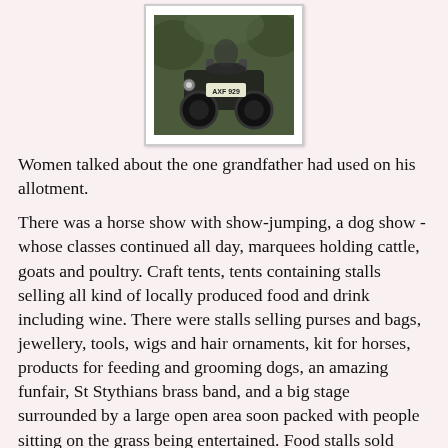[Figure (photo): A vintage vehicle (motorbike or tractor) with license plate AXF 929, photographed outdoors among greenery, shown in a white-bordered polaroid-style photo frame.]
Women talked about the one grandfather had used on his allotment.
There was a horse show with show-jumping, a dog show - whose classes continued all day, marquees holding cattle, goats and poultry. Craft tents, tents containing stalls selling all kind of locally produced food and drink including wine.  There were stalls selling purses and bags, jewellery, tools, wigs and hair ornaments, kit for horses, products for feeding and grooming dogs, an amazing funfair, St Stythians brass band, and a big stage surrounded by a large open area soon packed with people sitting on the grass being entertained.  Food stalls sold burgers,  curries, spit-roasted pork in a bap, doughnuts, ice-cream, tea, coffee, and soft drinks.   Despite the crowds – and it was busy – the atmosphere was happy and relaxed.
Tannoys commentating on the horse-jumping and dog-show classes competed with the band, the banjo group on the stage, one of those huge fairground organs, noise from the rides and screams of the people on them,  hoots from the traction engines and the